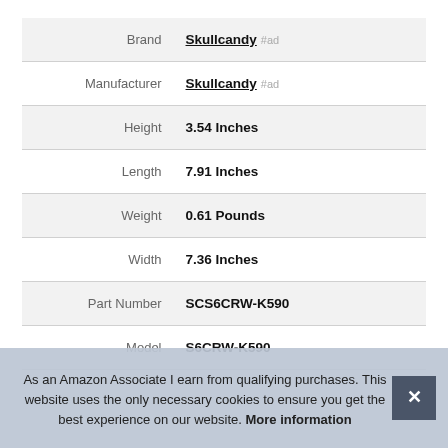| Attribute | Value |
| --- | --- |
| Brand | Skullcandy #ad |
| Manufacturer | Skullcandy #ad |
| Height | 3.54 Inches |
| Length | 7.91 Inches |
| Weight | 0.61 Pounds |
| Width | 7.36 Inches |
| Part Number | SCS6CRW-K590 |
| Model | S6CRW-K590 |
As an Amazon Associate I earn from qualifying purchases. This website uses the only necessary cookies to ensure you get the best experience on our website. More information